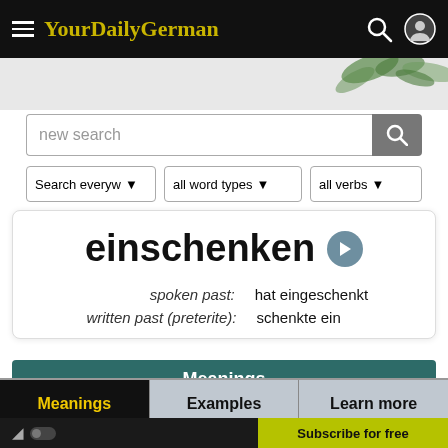YourDailyGerman
[Figure (screenshot): Search input box with placeholder 'new search' and search button]
[Figure (screenshot): Three dropdown filters: 'Search everyw...', 'all word types', 'all verbs']
einschenken
spoken past: hat eingeschenkt
written past (preterite): schenkte ein
Meanings
Meanings | Examples | Learn more
Word Family | Comments
Subscribe for free